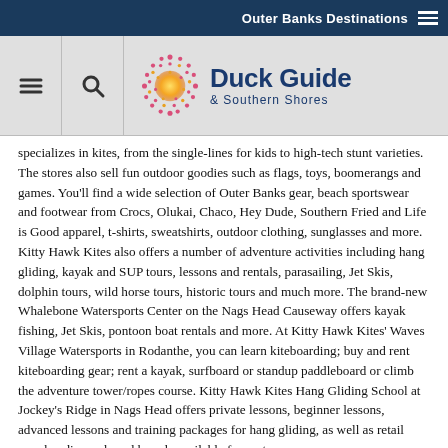Outer Banks Destinations
[Figure (logo): Duck Guide & Southern Shores logo with sunburst graphic and navigation icons (hamburger menu and search)]
specializes in kites, from the single-lines for kids to high-tech stunt varieties. The stores also sell fun outdoor goodies such as flags, toys, boomerangs and games. You'll find a wide selection of Outer Banks gear, beach sportswear and footwear from Crocs, Olukai, Chaco, Hey Dude, Southern Fried and Life is Good apparel, t-shirts, sweatshirts, outdoor clothing, sunglasses and more. Kitty Hawk Kites also offers a number of adventure activities including hang gliding, kayak and SUP tours, lessons and rentals, parasailing, Jet Skis, dolphin tours, wild horse tours, historic tours and much more. The brand-new Whalebone Watersports Center on the Nags Head Causeway offers kayak fishing, Jet Skis, pontoon boat rentals and more. At Kitty Hawk Kites' Waves Village Watersports in Rodanthe, you can learn kiteboarding; buy and rent kiteboarding gear; rent a kayak, surfboard or standup paddleboard or climb the adventure tower/ropes course. Kitty Hawk Kites Hang Gliding School at Jockey's Ridge in Nags Head offers private lessons, beginner lessons, advanced lessons and training packages for hang gliding, as well as retail merchandise and sand boards available for rent.